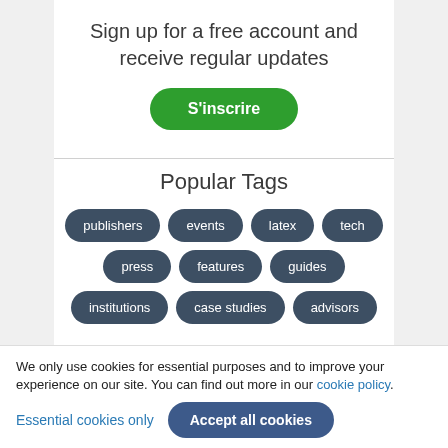Sign up for a free account and receive regular updates
S'inscrire
Popular Tags
publishers
events
latex
tech
press
features
guides
institutions
case studies
advisors
We only use cookies for essential purposes and to improve your experience on our site. You can find out more in our cookie policy.
Essential cookies only
Accept all cookies